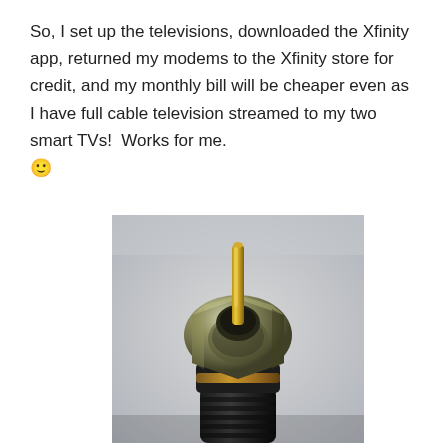So, I set up the televisions, downloaded the Xfinity app, returned my modems to the Xfinity store for credit, and my monthly bill will be cheaper even as I have full cable television streamed to my two smart TVs!  Works for me. 🙂
[Figure (photo): Close-up photograph of a coaxial cable connector (F-type connector) with a metal hexagonal nut and a protruding center pin, against a light gray background.]